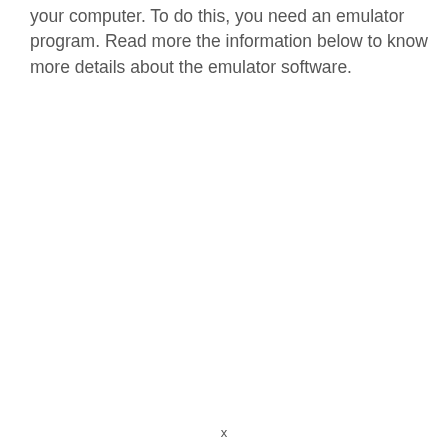your computer. To do this, you need an emulator program. Read more the information below to know more details about the emulator software.
x